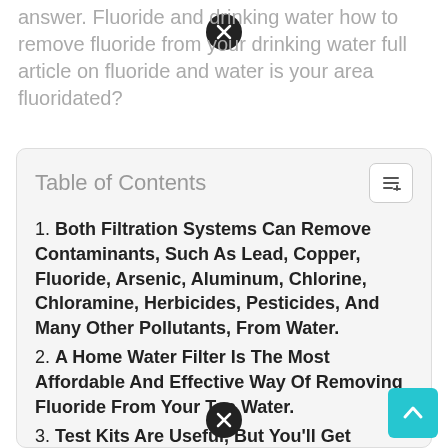answer. Fluoride and drinking water how to remove fluoride from your drinking water full article on fluoride and water is your area fluoridated?
Table of Contents
1. Both Filtration Systems Can Remove Contaminants, Such As Lead, Copper, Fluoride, Arsenic, Aluminum, Chlorine, Chloramine, Herbicides, Pesticides, And Many Other Pollutants, From Water.
2. A Home Water Filter Is The Most Affordable And Effective Way Of Removing Fluoride From Your Tap Water.
3. Test Kits Are Useful, But You'll Get Clearer Results From Getting Your Drinking Water Tested For Arsenic By A Lab.
4. Nube Water Goes Through A Revolutionized